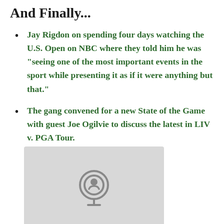And Finally...
Jay Rigdon on spending four days watching the U.S. Open on NBC where they told him he was “seeing one of the most important events in the sport while presenting it as if it were anything but that.”
The gang convened for a new State of the Game with guest Joe Ogilvie to discuss the latest in LIV v. PGA Tour.
[Figure (other): Podcast player embed with gray background and podcast microphone/signal icon in center]